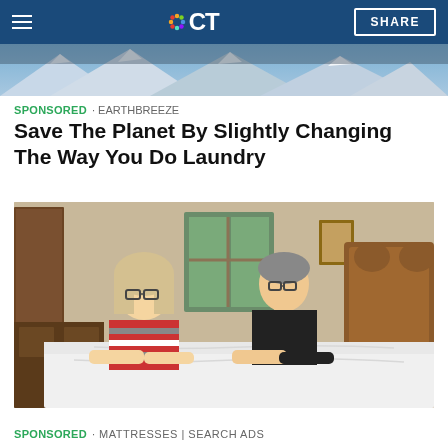NBC CT — SHARE
[Figure (photo): Top banner image showing snowy mountain landscape]
SPONSORED · EARTHBREEZE
Save The Planet By Slightly Changing The Way You Do Laundry
[Figure (photo): An older couple leaning over a bed with white sheets, in a bedroom with a wooden headboard]
SPONSORED · MATTRESSES | SEARCH ADS